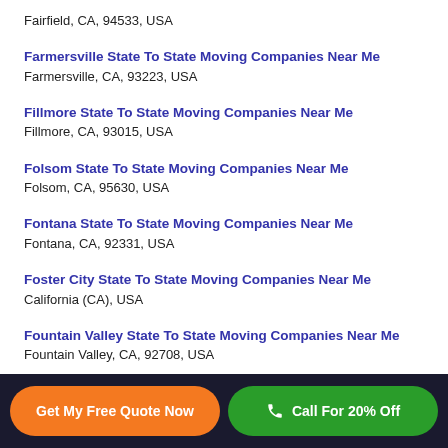Fairfield, CA, 94533, USA
Farmersville State To State Moving Companies Near Me
Farmersville, CA, 93223, USA
Fillmore State To State Moving Companies Near Me
Fillmore, CA, 93015, USA
Folsom State To State Moving Companies Near Me
Folsom, CA, 95630, USA
Fontana State To State Moving Companies Near Me
Fontana, CA, 92331, USA
Foster City State To State Moving Companies Near Me
California (CA), USA
Fountain Valley State To State Moving Companies Near Me
Fountain Valley, CA, 92708, USA
Get My Free Quote Now | Call For 20% Off